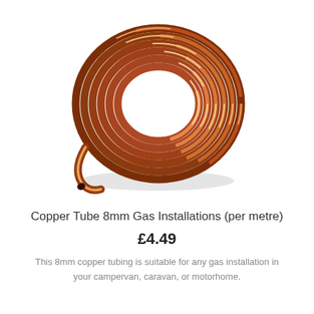[Figure (photo): A coil of copper tube (8mm) photographed on a white background, showing multiple loops of shiny copper tubing wound into a circular coil shape.]
Copper Tube 8mm Gas Installations (per metre)
£4.49
This 8mm copper tubing is suitable for any gas installation in your campervan, caravan, or motorhome.